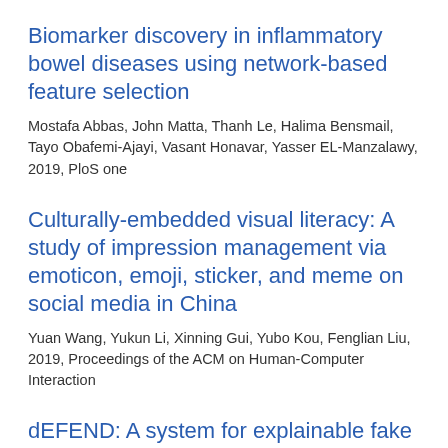Biomarker discovery in inflammatory bowel diseases using network-based feature selection
Mostafa Abbas, John Matta, Thanh Le, Halima Bensmail, Tayo Obafemi-Ajayi, Vasant Honavar, Yasser EL-Manzalawy, 2019, PloS one
Culturally-embedded visual literacy: A study of impression management via emoticon, emoji, sticker, and meme on social media in China
Yuan Wang, Yukun Li, Xinning Gui, Yubo Kou, Fenglian Liu, 2019, Proceedings of the ACM on Human-Computer Interaction
dEFEND: A system for explainable fake